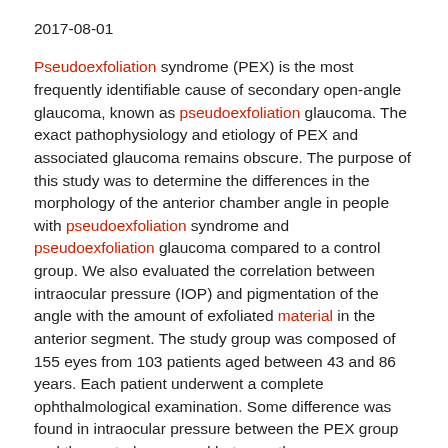2017-08-01
Pseudoexfoliation syndrome (PEX) is the most frequently identifiable cause of secondary open-angle glaucoma, known as pseudoexfoliation glaucoma. The exact pathophysiology and etiology of PEX and associated glaucoma remains obscure. The purpose of this study was to determine the differences in the morphology of the anterior chamber angle in people with pseudoexfoliation syndrome and pseudoexfoliation glaucoma compared to a control group. We also evaluated the correlation between intraocular pressure (IOP) and pigmentation of the angle with the amount of exfoliated material in the anterior segment. The study group was composed of 155 eyes from 103 patients aged between 43 and 86 years. Each patient underwent a complete ophthalmological examination. Some difference was found in intraocular pressure between the PEX group and the control group and between the pseudoexfoliation glaucoma group and the control group, but no significant difference was found between the 2 study groups. There was a significant difference in the incidence of some degree of pigmentation in the anterior chamber angle and no difference in the widths of the angle between each group. A significant